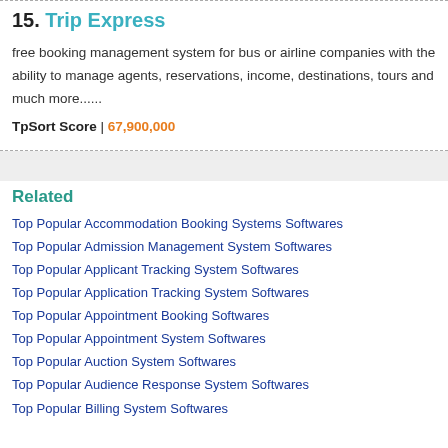15. Trip Express
free booking management system for bus or airline companies with the ability to manage agents, reservations, income, destinations, tours and much more......
TpSort Score | 67,900,000
Related
Top Popular Accommodation Booking Systems Softwares
Top Popular Admission Management System Softwares
Top Popular Applicant Tracking System Softwares
Top Popular Application Tracking System Softwares
Top Popular Appointment Booking Softwares
Top Popular Appointment System Softwares
Top Popular Auction System Softwares
Top Popular Audience Response System Softwares
Top Popular Billing System Softwares